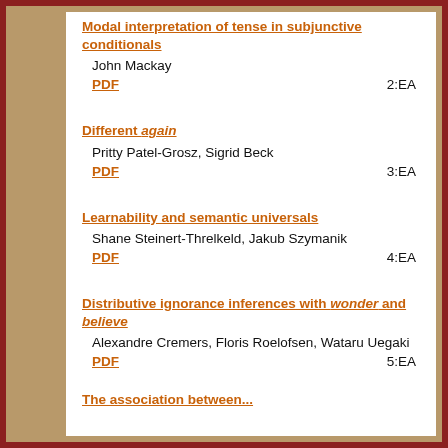Modal interpretation of tense in subjunctive conditionals
John Mackay
PDF    2:EA
Different again
Pritty Patel-Grosz, Sigrid Beck
PDF    3:EA
Learnability and semantic universals
Shane Steinert-Threlkeld, Jakub Szymanik
PDF    4:EA
Distributive ignorance inferences with wonder and believe
Alexandre Cremers, Floris Roelofsen, Wataru Uegaki
PDF    5:EA
The association between...